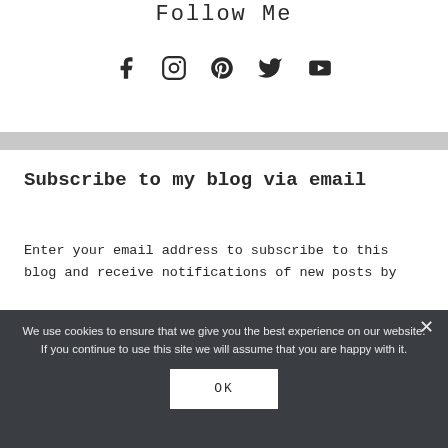Follow Me
[Figure (illustration): Social media icons: Facebook, Instagram, Pinterest, Twitter, YouTube]
Subscribe to my blog via email
Enter your email address to subscribe to this blog and receive notifications of new posts by
We use cookies to ensure that we give you the best experience on our website. If you continue to use this site we will assume that you are happy with it.